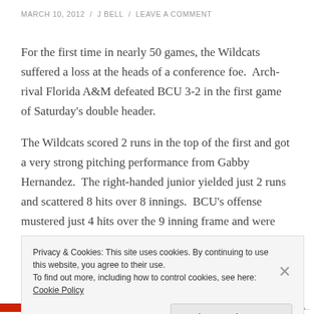MARCH 10, 2012 / J BELL / LEAVE A COMMENT
For the first time in nearly 50 games, the Wildcats suffered a loss at the heads of a conference foe.  Arch-rival Florida A&M defeated BCU 3-2 in the first game of Saturday's double header.
The Wildcats scored 2 runs in the top of the first and got a very strong pitching performance from Gabby Hernandez.  The right-handed junior yielded just 2 runs and scattered 8 hits over 8 innings.  BCU's offense mustered just 4 hits over the 9 inning frame and were
Privacy & Cookies: This site uses cookies. By continuing to use this website, you agree to their use.
To find out more, including how to control cookies, see here: Cookie Policy
Close and accept